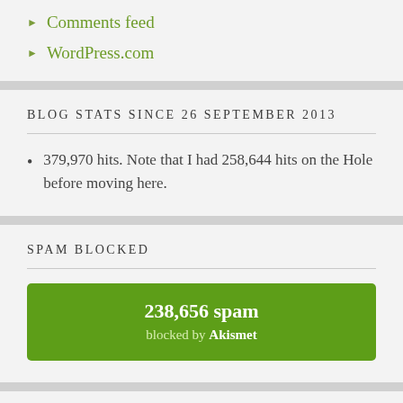Comments feed
WordPress.com
BLOG STATS SINCE 26 SEPTEMBER 2013
379,970 hits. Note that I had 258,644 hits on the Hole before moving here.
SPAM BLOCKED
238,656 spam blocked by Akismet